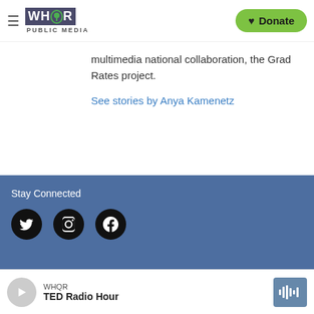[Figure (logo): WHOR Public Media logo with hamburger menu and Donate button]
multimedia national collaboration, the Grad Rates project.
See stories by Anya Kamenetz
Stay Connected
[Figure (infographic): Social media icons: Twitter, Instagram, Facebook]
WHQR TED Radio Hour